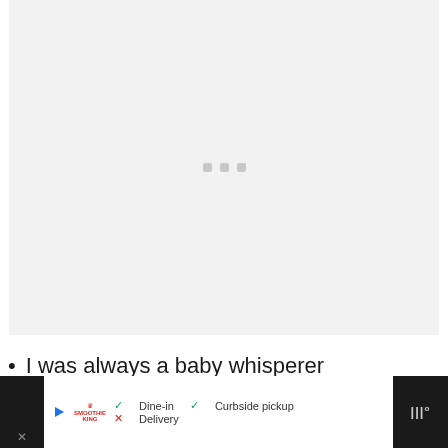[Figure (other): Video player placeholder with light gray background and three small square loading dots in the center]
I was always a baby whisperer
[Figure (other): Advertisement banner at bottom with Smoothie King logo, dine-in/curbside pickup/delivery options, blue navigation arrow icon, and Waze icon on dark background]